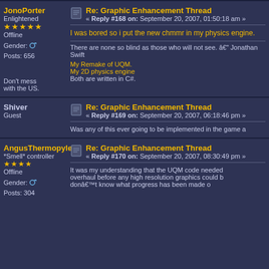JonoPorter — Enlightened — Offline — Gender: male — Posts: 656
Re: Graphic Enhancement Thread — Reply #168 on: September 20, 2007, 01:50:18 am
I was bored so i put the new chmmr in my physics engine.
There are none so blind as those who will not see. — Jonathan Swift
My Remake of UQM.
My 2D physics engine
Both are written in C#.
Don't mess with the US.
Shiver — Guest
Re: Graphic Enhancement Thread — Reply #169 on: September 20, 2007, 06:18:46 pm
Was any of this ever going to be implemented in the game a
AngusThermopyle — *Smell* controller — Offline — Gender: male — Posts: 304
Re: Graphic Enhancement Thread — Reply #170 on: September 20, 2007, 08:30:49 pm
It was my understanding that the UQM code needed overhaul before any high resolution graphics could b donât know what progress has been made o